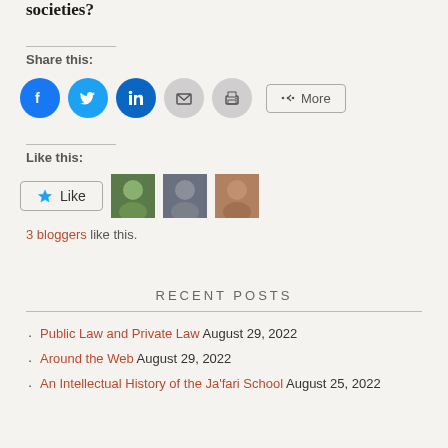societies?
Share this:
[Figure (infographic): Social sharing icons: Facebook (blue circle), Twitter (blue circle), LinkedIn (dark blue circle), Email (grey circle), Print (grey circle), and a More button with share icon]
Like this:
[Figure (infographic): Like button with star icon and three blogger avatar thumbnails]
3 bloggers like this.
RECENT POSTS
Public Law and Private Law August 29, 2022
Around the Web August 29, 2022
An Intellectual History of the Ja'fari School August 25, 2022